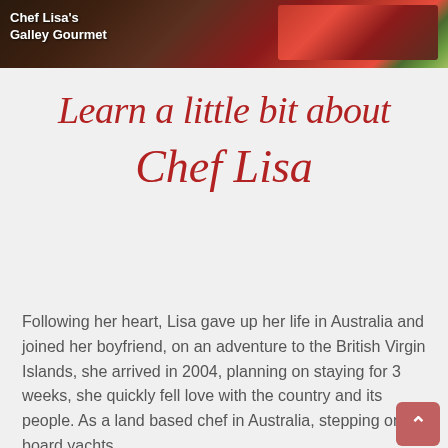[Figure (photo): Banner image showing Chef Lisa's Galley Gourmet text overlaid on a dark food photography background with vegetables and a red cutting board]
Learn a little bit about Chef Lisa
Following her heart, Lisa gave up her life in Australia and joined her boyfriend, on an adventure to the British Virgin Islands, she arrived in 2004, planning on staying for 3 weeks, she quickly fell love with the country and its people. As a land based chef in Australia, stepping on board yachts